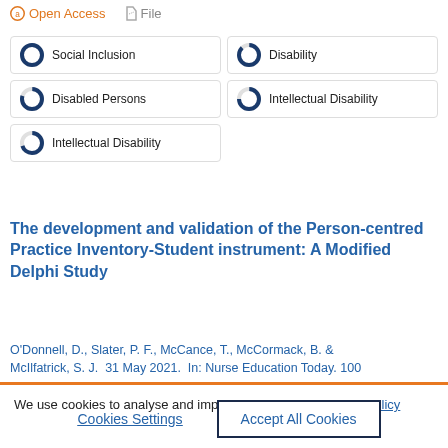Open Access  File
Social Inclusion
Disability
Disabled Persons
Intellectual Disability
Intellectual Disability
The development and validation of the Person-centred Practice Inventory-Student instrument: A Modified Delphi Study
O'Donnell, D., Slater, P. F., McCance, T., McCormack, B. & McIlfatrick, S. J.  31 May 2021.  In: Nurse Education Today. 100
We use cookies to analyse and improve our service.  Cookie Policy
Cookies Settings
Accept All Cookies